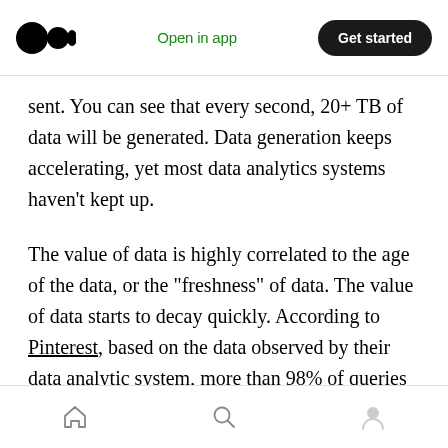Medium logo | Open in app | Get started
sent. You can see that every second, 20+ TB of data will be generated. Data generation keeps accelerating, yet most data analytics systems haven’t kept up.
The value of data is highly correlated to the age of the data, or the “freshness” of data. The value of data starts to decay quickly. According to Pinterest, based on the data observed by their data analytic system, more than 98% of queries are on data age within 35 days. To fully leverage the value of the data, the data processing needs
Home | Search | Profile